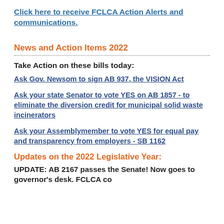Click here to receive FCLCA Action Alerts and communications.
News and Action Items 2022
Take Action on these bills today:
Ask Gov. Newsom to sign AB 937, the VISION Act
Ask your state Senator to vote YES on AB 1857 - to eliminate the diversion credit for municipal solid waste incinerators
Ask your Assemblymember to vote YES for equal pay and transparency from employers - SB 1162
Updates on the 2022 Legislative Year:
UPDATE:  AB 2167 passes the Senate! Now goes to governor's desk. FCLCA co